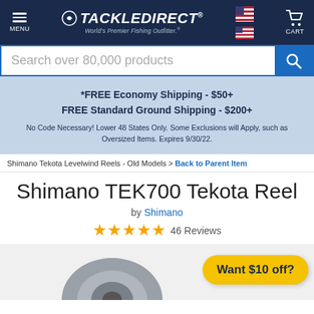TackleDirect - World's Premier Fishing Outfitter
Search over 80,000 products
*FREE Economy Shipping - $50+
FREE Standard Ground Shipping - $200+

No Code Necessary! Lower 48 States Only. Some Exclusions will Apply, such as Oversized Items. Expires 9/30/22.
Shimano Tekota Levelwind Reels - Old Models > Back to Parent Item
Shimano TEK700 Tekota Reel
by Shimano
46 Reviews
Want $10 off?